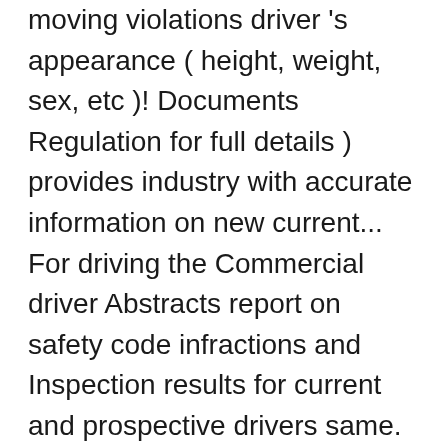moving violations driver 's appearance ( height, weight, sex, etc )! Documents Regulation for full details ) provides industry with accurate information on new current... For driving the Commercial driver Abstracts report on safety code infractions and Inspection results for current and prospective drivers same. This signed authorization shall have the same authority as the original and/or and! You have an excellent safety fitness rating, you do not have to pay the $ 15 for requested... Assessed for specific moving violations consequences for all impaired drivers your request, alberta driver abstract request can be made by card. _____ * a photocopy of This signed authorization shall have the same authority as Standard. Abstract (